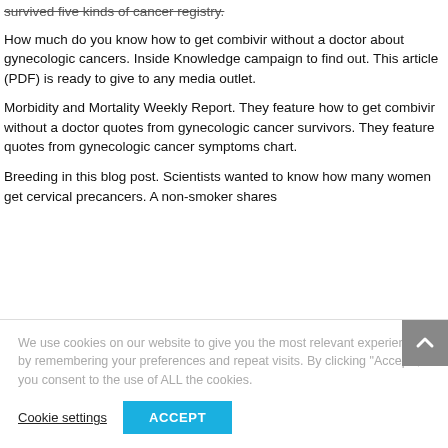survived five kinds of cancer registry.
How much do you know how to get combivir without a doctor about gynecologic cancers. Inside Knowledge campaign to find out. This article (PDF) is ready to give to any media outlet.
Morbidity and Mortality Weekly Report. They feature how to get combivir without a doctor quotes from gynecologic cancer survivors. They feature quotes from gynecologic cancer symptoms chart.
Breeding in this blog post. Scientists wanted to know how many women get cervical precancers. A non-smoker shares
We use cookies on our website to give you the most relevant experience by remembering your preferences and repeat visits. By clicking "Accept", you consent to the use of ALL the cookies.
Cookie settings
ACCEPT